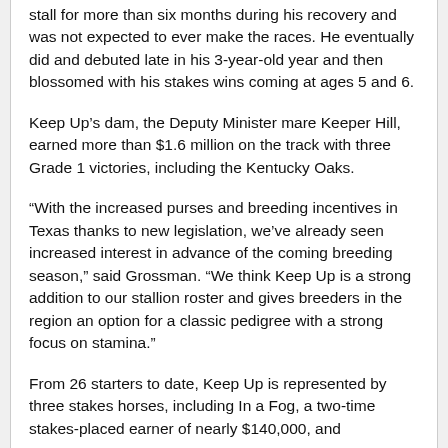stall for more than six months during his recovery and was not expected to ever make the races. He eventually did and debuted late in his 3-year-old year and then blossomed with his stakes wins coming at ages 5 and 6.
Keep Up’s dam, the Deputy Minister mare Keeper Hill, earned more than $1.6 million on the track with three Grade 1 victories, including the Kentucky Oaks.
“With the increased purses and breeding incentives in Texas thanks to new legislation, we’ve already seen increased interest in advance of the coming breeding season,” said Grossman. “We think Keep Up is a strong addition to our stallion roster and gives breeders in the region an option for a classic pedigree with a strong focus on stamina.”
From 26 starters to date, Keep Up is represented by three stakes horses, including In a Fog, a two-time stakes-placed earner of nearly $140,000, and